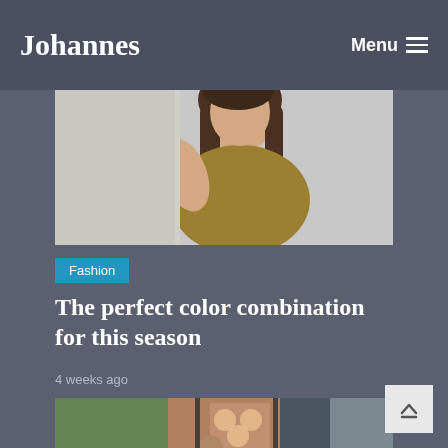Johannes   Menu
[Figure (photo): Young woman with long brown hair wearing a mustard/olive yellow top, sitting casually with hand near her head, smiling slightly, light background]
Fashion
The perfect color combination for this season
4 weeks ago
[Figure (photo): Man sitting in doorway of what appears to be a van or trailer, surrounded by trees and natural light filtering through a decorative panel]